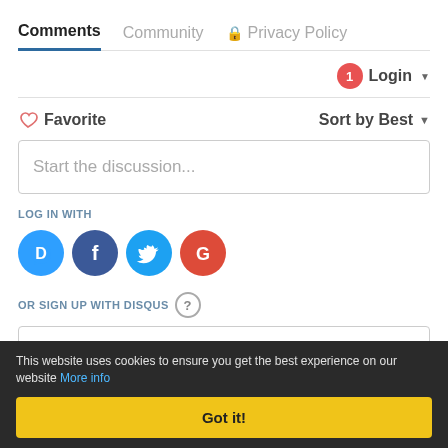Comments | Community | Privacy Policy
Login ▾
♡ Favorite   Sort by Best ▾
Start the discussion...
LOG IN WITH
[Figure (logo): Four social login buttons: Disqus (blue circle with D), Facebook (dark blue circle with f), Twitter (light blue circle with bird), Google (red circle with G)]
OR SIGN UP WITH DISQUS ?
Name
This website uses cookies to ensure you get the best experience on our website More info
Got it!